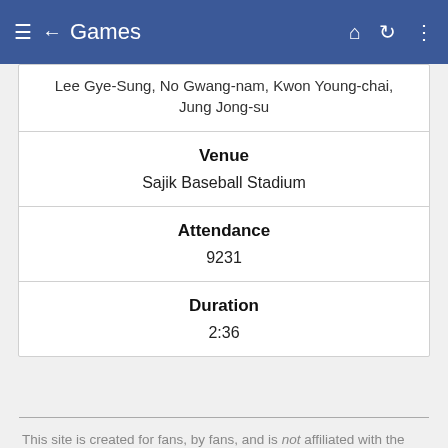Games
Lee Gye-Sung, No Gwang-nam, Kwon Young-chai, Jung Jong-su
| Venue | Sajik Baseball Stadium |
| Attendance | 9231 |
| Duration | 2:36 |
This site is created for fans, by fans, and is not affiliated with the KBO League (KBO 리그) or the Korea Baseball Organization (한국야구위원회). All information presented here should be considered unofficial. Player photos and official team logos are the property of their respective